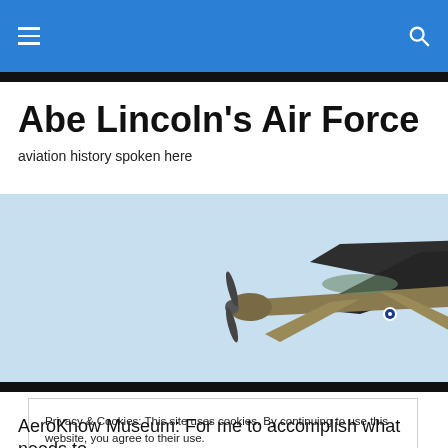Abe Lincoln's Air Force — navigation header with menu and search icons
Abe Lincoln's Air Force
aviation history spoken here
[Figure (photo): Two aircraft flying together — a vintage propeller plane (WWII-era fighter) below and a modern jet fighter (F-15 or similar) above, against a light blue sky background.]
Privacy & Cookies: This site uses cookies. By continuing to use this website, you agree to their use.
To find out more, including how to control cookies, see here: Cookie Policy
Close and accept
AeroKnow Museum: For me to accomplish what needs to